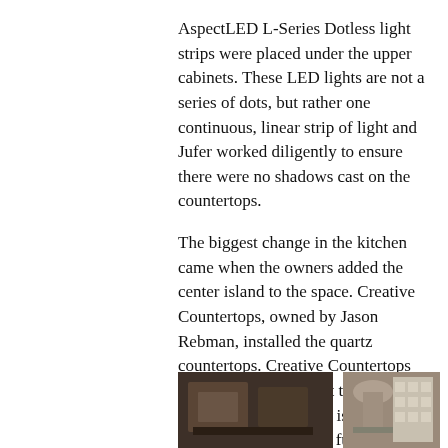AspectLED L-Series Dotless light strips were placed under the upper cabinets. These LED lights are not a series of dots, but rather one continuous, linear strip of light and Jufer worked diligently to ensure there were no shadows cast on the countertops.
The biggest change in the kitchen came when the owners added the center island to the space. Creative Countertops, owned by Jason Rebman, installed the quartz countertops. Creative Countertops also designed and built the amazing overbar addition to the island. This not only added seating functionality but brought an impressive focal point to the room.
The backsplash and island overbar are their favorite parts of the new kitchen. The backsplash tiles are 3D glass subway tiles and are part polished and part matte. They're reminiscent of the B-2 Stealth Bomber!
[Figure (photo): Photo of kitchen interior showing cabinets and countertop area]
[Figure (photo): Photo of kitchen showing range hood and backsplash tiles]